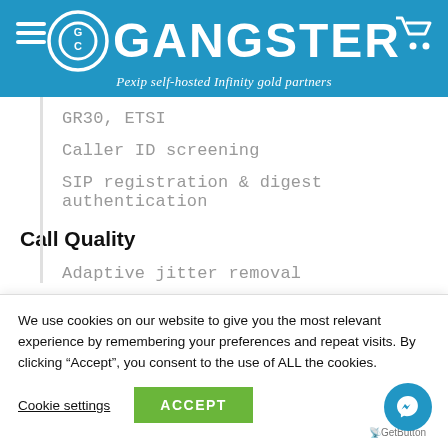[Figure (logo): GC Gangster logo with circular GC emblem and GANGSTER text in white on blue background, tagline: Pexip self-hosted Infinity gold partners]
GR30, ETSI
Caller ID screening
SIP registration & digest authentication
Call Quality
Adaptive jitter removal
We use cookies on our website to give you the most relevant experience by remembering your preferences and repeat visits. By clicking “Accept”, you consent to the use of ALL the cookies.
Cookie settings   ACCEPT